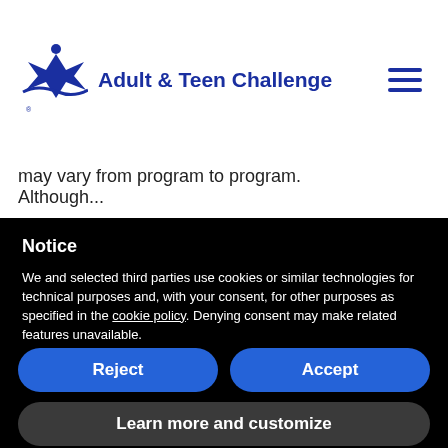[Figure (logo): Adult & Teen Challenge logo — blue star-like figure with text 'Adult & Teen Challenge']
may vary from program to program. Although...
Notice
We and selected third parties use cookies or similar technologies for technical purposes and, with your consent, for other purposes as specified in the cookie policy. Denying consent may make related features unavailable.
You can consent to the use of such technologies by using the "Accept" button, by scrolling this page, by interacting with any link or button outside of this notice or by continuing to browse otherwise.
Reject
Accept
Learn more and customize